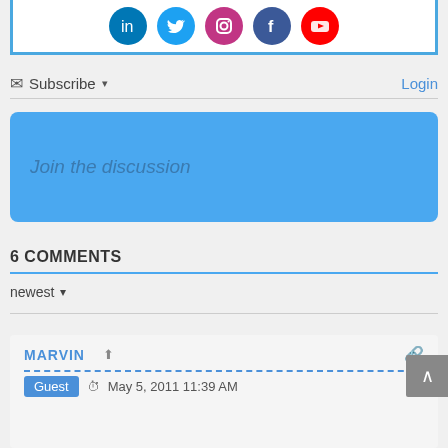[Figure (infographic): Social media icons bar at top: LinkedIn (blue), Twitter (light blue), Instagram (purple), Facebook (dark blue), YouTube (red)]
Subscribe ▾
Login
Join the discussion
6 COMMENTS
newest ▾
MARVIN
Guest  May 5, 2011 11:39 AM